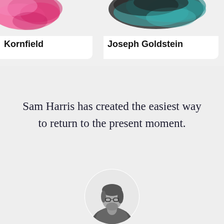[Figure (illustration): Card showing Jack Kornfield with pink/magenta watercolor splash image at top]
Kornfield
[Figure (illustration): Card showing Joseph Goldstein with teal/dark watercolor splash image at top]
Joseph Goldstein
Sam Harris has created the easiest way to return to the present moment.
[Figure (photo): Black and white circular portrait photo of Sam Harris, shown from shoulders up, wearing glasses, hair pulled back]